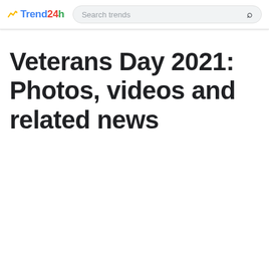Trend24h — Search trends
Veterans Day 2021: Photos, videos and related news